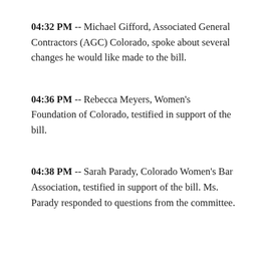04:32 PM -- Michael Gifford, Associated General Contractors (AGC) Colorado, spoke about several changes he would like made to the bill.
04:36 PM -- Rebecca Meyers, Women's Foundation of Colorado, testified in support of the bill.
04:38 PM -- Sarah Parady, Colorado Women's Bar Association, testified in support of the bill. Ms. Parady responded to questions from the committee.